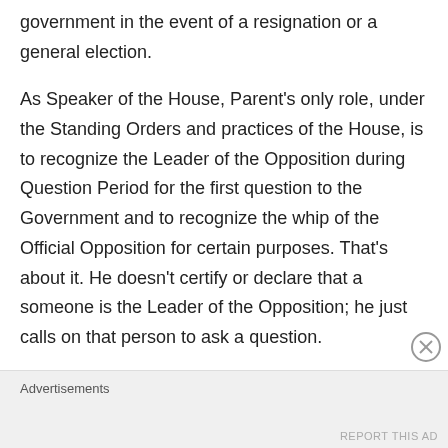government in the event of a resignation or a general election.
As Speaker of the House, Parent's only role, under the Standing Orders and practices of the House, is to recognize the Leader of the Opposition during Question Period for the first question to the Government and to recognize the whip of the Official Opposition for certain purposes. That's about it. He doesn't certify or declare that a someone is the Leader of the Opposition; he just calls on that person to ask a question.
Advertisements